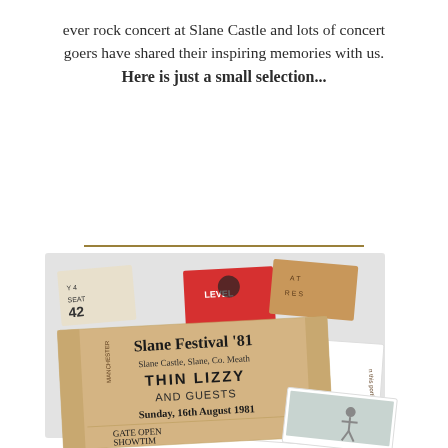ever rock concert at Slane Castle and lots of concert goers have shared their inspiring memories with us.
Here is just a small selection...
[Figure (photo): A collection of concert ticket stubs including a prominent Slane Festival '81 ticket featuring Thin Lizzy and Guests at Slane Castle, Slane, Co. Meath, Sunday 16th August 1981, Gate Open, Showtime. Other tickets visible include one with 'LEVEL' text in red, and another with seat number 42.]